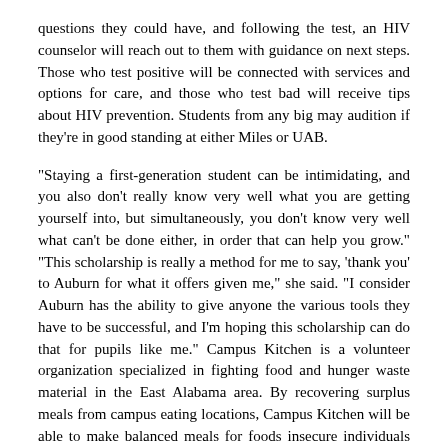questions they could have, and following the test, an HIV counselor will reach out to them with guidance on next steps. Those who test positive will be connected with services and options for care, and those who test bad will receive tips about HIV prevention. Students from any big may audition if they're in good standing at either Miles or UAB.
"Staying a first-generation student can be intimidating, and you also don't really know very well what you are getting yourself into, but simultaneously, you don't know very well what can't be done either, in order that can help you grow." "This scholarship is really a method for me to say, 'thank you' to Auburn for what it offers given me," she said. "I consider Auburn has the ability to give anyone the various tools they have to be successful, and I'm hoping this scholarship can do that for pupils like me." Campus Kitchen is a volunteer organization specialized in fighting food and hunger waste material in the East Alabama area. By recovering surplus meals from campus eating locations, Campus Kitchen will be able to make balanced meals for foods insecure individuals through the entire community nutritionally.